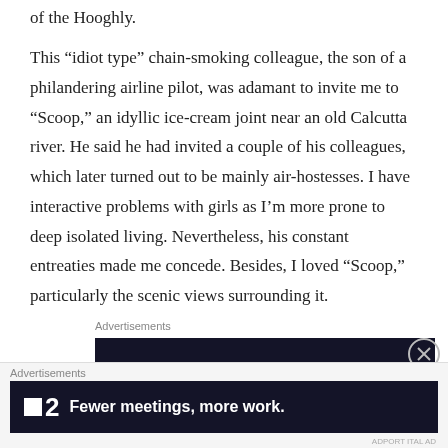of the Hooghly.
This “idiot type” chain-smoking colleague, the son of a philandering airline pilot, was adamant to invite me to “Scoop,” an idyllic ice-cream joint near an old Calcutta river. He said he had invited a couple of his colleagues, which later turned out to be mainly air-hostesses. I have interactive problems with girls as I’m more prone to deep isolated living. Nevertheless, his constant entreaties made me concede. Besides, I loved “Scoop,” particularly the scenic views surrounding it.
Advertisements
[Figure (other): Dark advertisement banner with teal cursive text partially visible reading 'Trum...']
Advertisements
[Figure (other): Dark advertisement banner for a product showing a logo with a small square and the number 2, with tagline 'Fewer meetings, more work.']